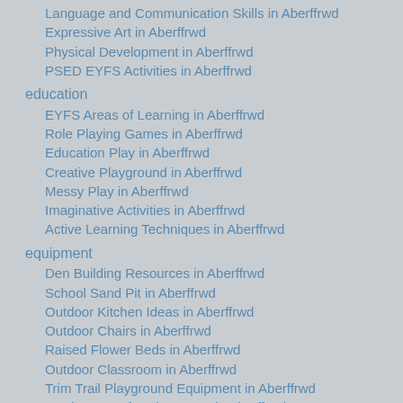Language and Communication Skills in Aberffrwd
Expressive Art in Aberffrwd
Physical Development in Aberffrwd
PSED EYFS Activities in Aberffrwd
education
EYFS Areas of Learning in Aberffrwd
Role Playing Games in Aberffrwd
Education Play in Aberffrwd
Creative Playground in Aberffrwd
Messy Play in Aberffrwd
Imaginative Activities in Aberffrwd
Active Learning Techniques in Aberffrwd
equipment
Den Building Resources in Aberffrwd
School Sand Pit in Aberffrwd
Outdoor Kitchen Ideas in Aberffrwd
Outdoor Chairs in Aberffrwd
Raised Flower Beds in Aberffrwd
Outdoor Classroom in Aberffrwd
Trim Trail Playground Equipment in Aberffrwd
Monkey Bars for Play Areas in Aberffrwd
Calisthenics Apparatus in Aberffrwd